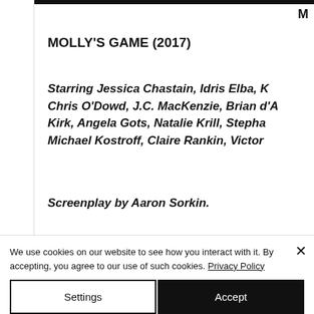M
MOLLY'S GAME (2017)
Starring Jessica Chastain, Idris Elba, K Chris O'Dowd, J.C. MacKenzie, Brian d'A Kirk, Angela Gots, Natalie Krill, Stepha Michael Kostroff, Claire Rankin, Victor
Screenplay by Aaron Sorkin.
We use cookies on our website to see how you interact with it. By accepting, you agree to our use of such cookies. Privacy Policy